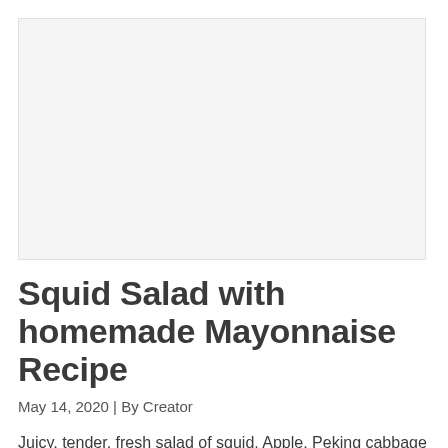[Figure (photo): Food photo placeholder — light gray rectangle representing a photo of squid salad with homemade mayonnaise]
Squid Salad with homemade Mayonnaise Recipe
May 14, 2020 | By Creator
Juicy, tender, fresh salad of squid, Apple, Peking cabbage with homemade mayonnaise. Light, but quite satisfying.